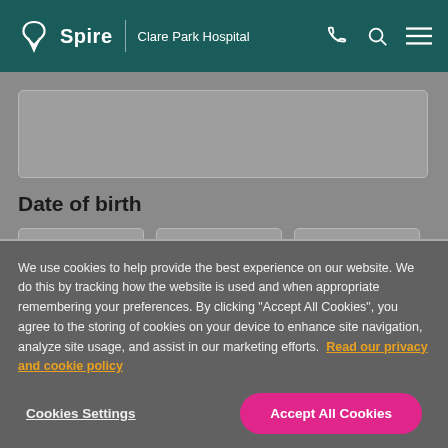Spire | Clare Park Hospital
Date of birth
We use cookies to help provide the best experience on our website. We do this by tracking how the website is used and when appropriate remembering your preferences. By clicking "Accept All Cookies", you agree to the storing of cookies on your device to enhance site navigation, analyze site usage, and assist in our marketing efforts. Read our privacy and cookie policy
Cookies Settings
Accept All Cookies